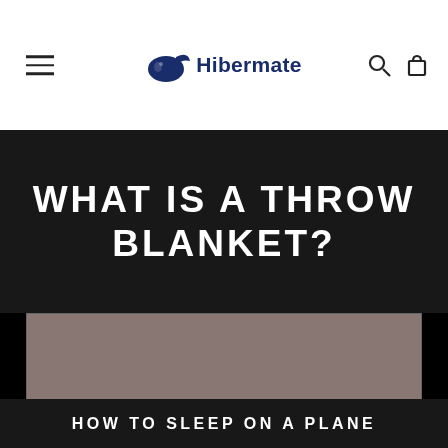Hibermate
WHAT IS A THROW BLANKET?
[Figure (photo): A large grayish-mauve colored image placeholder representing a throw blanket photo]
HOW TO SLEEP ON A PLANE